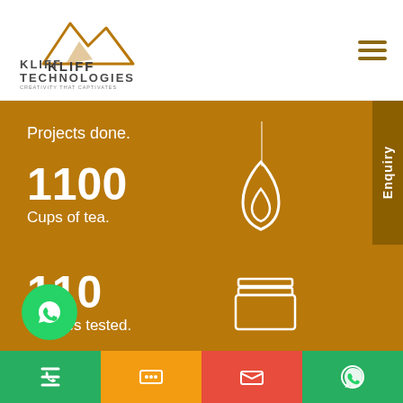[Figure (logo): Kliff Technologies logo with mountain graphic and text]
Projects done.
1100
Cups of tea.
110
Devices tested.
KLIFF TECHNOLOGIES
We offer strategic solutions for your online shops, If you need digital marketing and content experts, , and resolution to